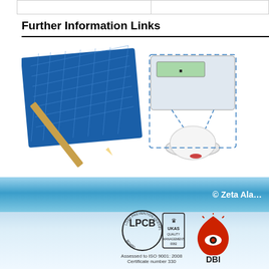|  |  |
Further Information Links
[Figure (illustration): Technical drawing/blueprint illustration with pencil and ruler, alongside a fire alarm control panel connected to a smoke detector via dashed lines]
Introduction to Toxic & Flammable Gas D...
Toxic & Flammable Gas Detection Syste...
© Zeta Ala...
[Figure (logo): LPCB and UKAS Quality Management certification logos. Text: Assessed to ISO 9001: 2008, Certificate number 330]
[Figure (logo): DBi logo (red flame with eye icon)]